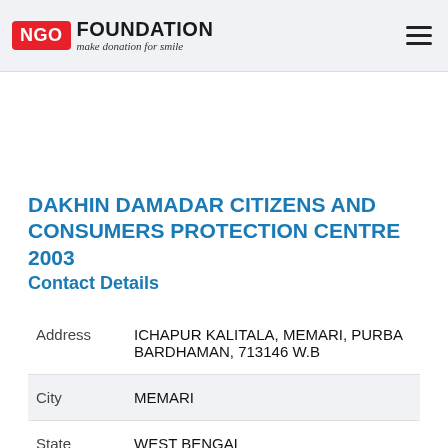NGO FOUNDATION make donation for smile
DAKHIN DAMADAR CITIZENS AND CONSUMERS PROTECTION CENTRE 2003
Contact Details
| Field | Value |
| --- | --- |
| Address | ICHAPUR KALITALA, MEMARI, PURBA BARDHAMAN, 713146 W.B |
| City | MEMARI |
| State | WEST BENGAL |